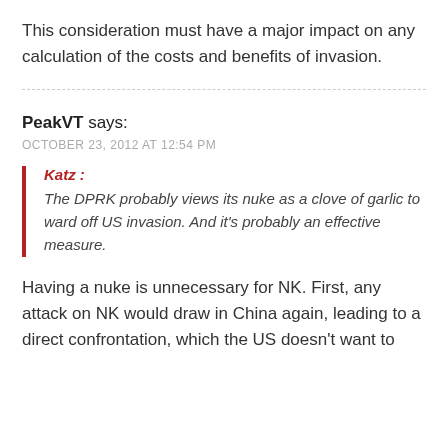This consideration must have a major impact on any calculation of the costs and benefits of invasion.
PeakVT says: OCTOBER 23, 2012 AT 12:54 PM
Katz : The DPRK probably views its nuke as a clove of garlic to ward off US invasion. And it's probably an effective measure.
Having a nuke is unnecessary for NK. First, any attack on NK would draw in China again, leading to a direct confrontation, which the US doesn't want to